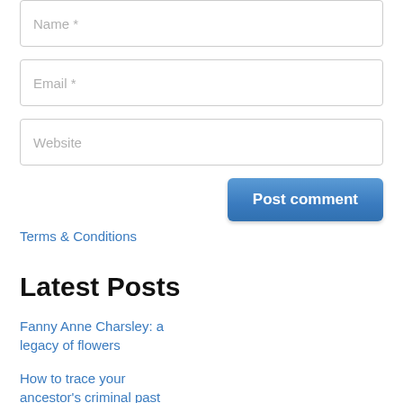[Figure (screenshot): A web form with Name, Email, Website input fields, a Post comment button, and a Terms & Conditions link]
Latest Posts
Fanny Anne Charsley: a legacy of flowers
How to trace your ancestor's criminal past